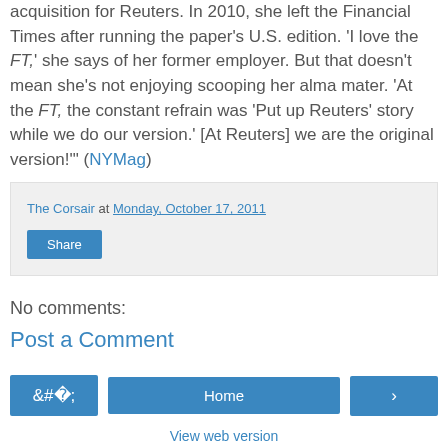acquisition for Reuters. In 2010, she left the Financial Times after running the paper’s U.S. edition. ‘I love the FT,’ she says of her former employer. But that doesn’t mean she’s not enjoying scooping her alma mater. ‘At the FT, the constant refrain was ‘Put up Reuters’ story while we do our version.’ [At Reuters] we are the original version!’” (NYMag)
The Corsair at Monday, October 17, 2011
Share
No comments:
Post a Comment
Home
View web version
About Me
The Corsair